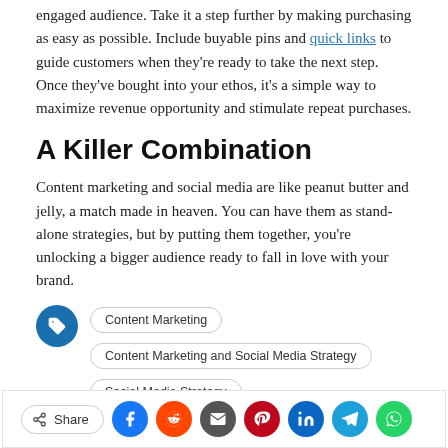engaged audience. Take it a step further by making purchasing as easy as possible. Include buyable pins and quick links to guide customers when they're ready to take the next step. Once they've bought into your ethos, it's a simple way to maximize revenue opportunity and stimulate repeat purchases.
A Killer Combination
Content marketing and social media are like peanut butter and jelly, a match made in heaven. You can have them as stand-alone strategies, but by putting them together, you're unlocking a bigger audience ready to fall in love with your brand.
Tags: Content Marketing | Content Marketing and Social Media Strategy | Social Media Strategy
Category: Business | Marketing
Share (social share bar with Facebook, Reddit, Email, Pinterest, LinkedIn, Telegram, WhatsApp)